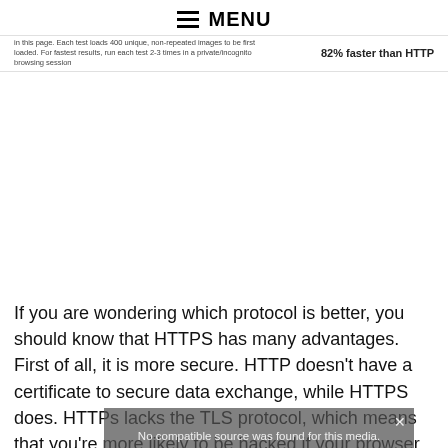MENU
in this page. Each test loads 400 unique, non-repeated images to be first loaded. For fastest results, run each test 2-3 times in a private/incognito browsing session	82% faster than HTTP
[Figure (infographic): Grid of approximately 330 green circular checkmark icons arranged in 12 rows]
If you are wondering which protocol is better, you should know that HTTPS has many advantages. First of all, it is more secure. HTTP doesn't have a certificate to secure data exchange, while HTTPS does. HTTPs lacks the TLS protocol, which means that you're more likely to be hacked if your browser sends sensitive information. HTTPs are also faster. In this article, you'll learn which protocol you should use